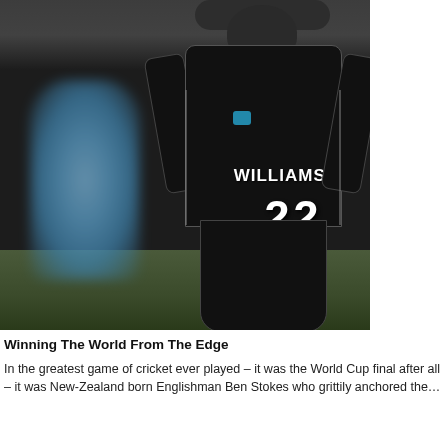[Figure (photo): Cricket player Kane Williamson wearing black New Zealand jersey with 'WILLIAMSON 22' on the back, hands on head in disappointment. An England player in blue is visible blurred in the background left. Cricket ground setting.]
Winning The World From The Edge
In the greatest game of cricket ever played – it was the World Cup final after all – it was New-Zealand born Englishman Ben Stokes who grittily anchored the…